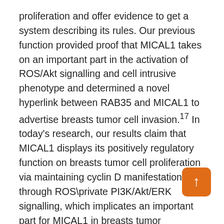proliferation and offer evidence to get a system describing its rules. Our previous function provided proof that MICAL1 takes on an important part in the activation of ROS/Akt signalling and cell intrusive phenotype and determined a novel hyperlink between RAB35 and MICAL1 to advertise breasts tumor cell invasion.17 In today's research, our results claim that MICAL1 displays its positively regulatory function on breasts tumor cell proliferation via maintaining cyclin D manifestation through ROS\private PI3K/Akt/ERK signalling, which implicates an important part for MICAL1 in breasts tumor pathogenesis. 2.?METHODS and MATERIALS 2.1. Cell and plasmids Human being breasts tumor cell lines MCF\7 and T47D had been originally from the Cell Biology Institute of Chinese language Academy of Sciences (Shanghai, China). Cell had